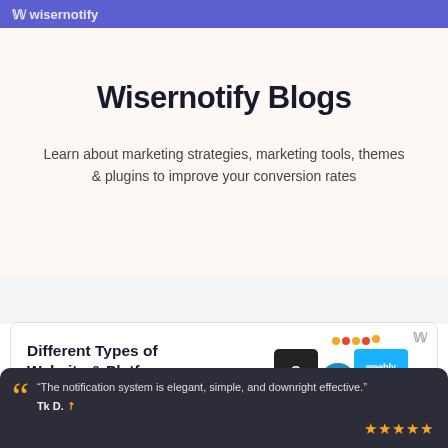Wisernotify
Wisernotify Blogs
Learn about marketing strategies, marketing tools, themes & plugins to improve your conversion rates
[Figure (screenshot): Blog article card showing 'Different Types of Website & Platforms' with platform logos (Squarespace, Weebly, WordPress, Wix)]
□ Introducing Social Wall □
"The notification system is elegant, simple, and downright effective." Tk D.
[Figure (infographic): Five orange star rating icons]